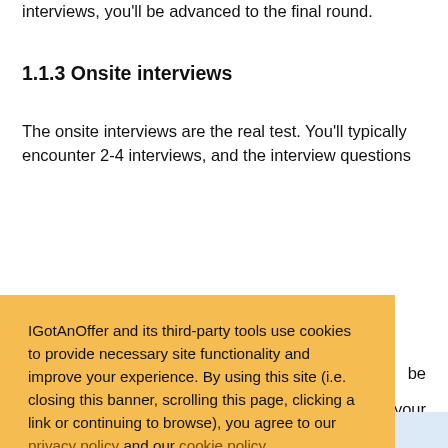interviews, you'll be advanced to the final round.
1.1.3 Onsite interviews
The onsite interviews are the real test. You'll typically encounter 2-4 interviews, and the interview questions
[Figure (other): Cookie consent banner with orange/yellow background. Contains text: 'IGotAnOffer and its third-party tools use cookies to provide necessary site functionality and improve your experience. By using this site (i.e. closing this banner, scrolling this page, clicking a link or continuing to browse), you agree to our privacy policy and our cookie policy.' with an Accept button in blue.]
be
your
sed
Practice with mock on interviewers